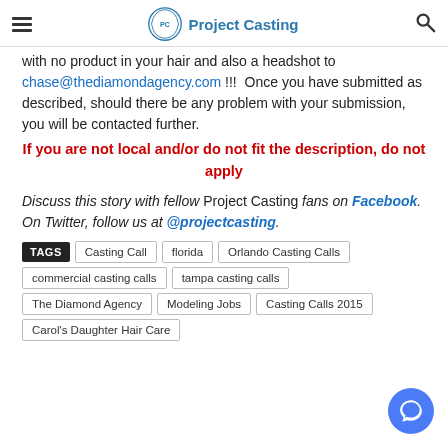Project Casting
with no product in your hair and also a headshot to chase@thediamondagency.com !!!  Once you have submitted as described, should there be any problem with your submission, you will be contacted further.
If you are not local and/or do not fit the description, do not apply
Discuss this story with fellow Project Casting fans on Facebook. On Twitter, follow us at @projectcasting.
TAGS: Casting Call, florida, Orlando Casting Calls, commercial casting calls, tampa casting calls, The Diamond Agency, Modeling Jobs, Casting Calls 2015, Carol's Daughter Hair Care